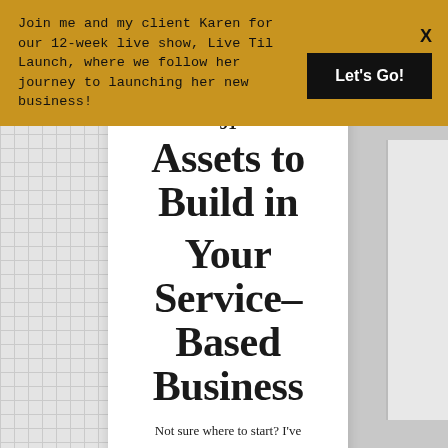Join me and my client Karen for our 12-week live show, Live Til Launch, where we follow her journey to launching her new business!
Assets to Build in Your Service-Based Business
Not sure where to start? I've